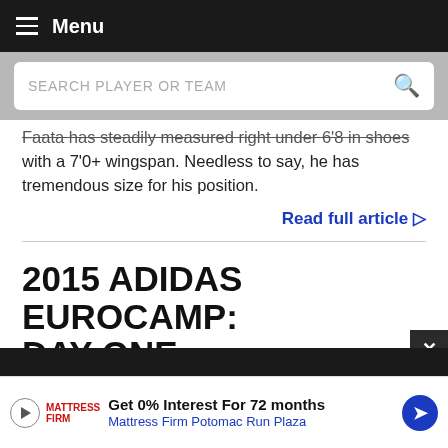Menu
SEARCH PLAYER OR TEAM
Faata has steadily measured right under 6'8 in shoes with a 7'0+ wingspan. Needless to say, he has tremendous size for his position.
Read full article ▷
2015 ADIDAS EUROCAMP: DAY ONE
DraftExpress
@DraftExpress
Get 0% Interest For 72 months Mattress Firm Potomac Run Plaza